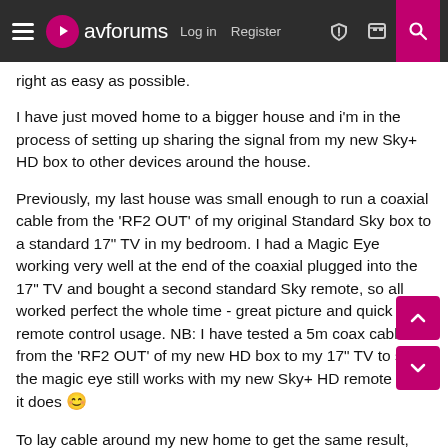avforums  Log in  Register
right as easy as possible.
I have just moved home to a bigger house and i'm in the process of setting up sharing the signal from my new Sky+ HD box to other devices around the house.
Previously, my last house was small enough to run a coaxial cable from the 'RF2 OUT' of my original Standard Sky box to a standard 17" TV in my bedroom. I had a Magic Eye working very well at the end of the coaxial plugged into the 17" TV and bought a second standard Sky remote, so all worked perfect the whole time - great picture and quick remote control usage. NB: I have tested a 5m coax cable from the 'RF2 OUT' of my new HD box to my 17" TV to see if the magic eye still works with my new Sky+ HD remote and it does 😊
To lay cable around my new home to get the same result, would be fairly costly, and it would be really awkward to do, due to the layout. So instead for the TV in the bedroom, I have bought the